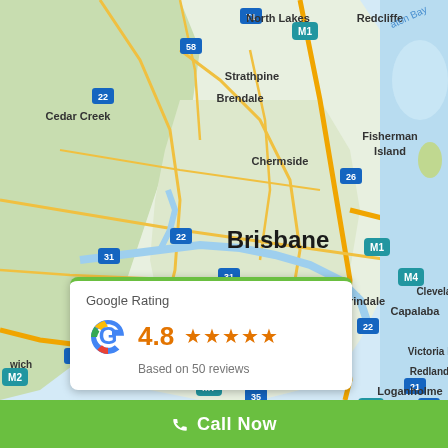[Figure (map): Google Maps view of Brisbane, Queensland, Australia showing surrounding suburbs including North Lakes, Redcliffe, Strathpine, Brendale, Cedar Creek, Chermside, Fisherman Island, Indooroopilly, Carindale, Capalaba, Cleveland, Sunnybank, Victoria Point, Redland Bay, Loganholme with road network and motorway labels (M1, M2, M3, M4, M7, 22, 26, 31, 33, 35, 37, 45, 47, 50, 58, 71, 13, 21).]
[Figure (infographic): Google Rating widget showing 4.8 stars out of 5 based on 50 reviews, with Google G logo in red/yellow/green/blue colors and orange star icons.]
Call Now